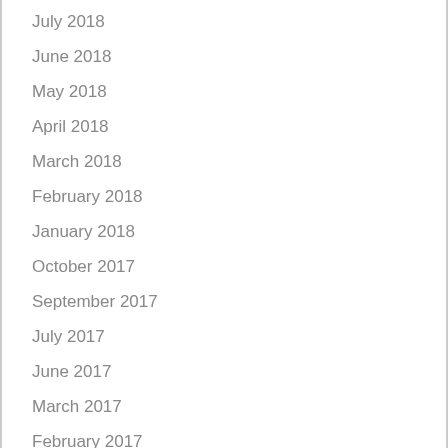July 2018
June 2018
May 2018
April 2018
March 2018
February 2018
January 2018
October 2017
September 2017
July 2017
June 2017
March 2017
February 2017
January 2017
December 2016
November 2016
October 2016
September 2016